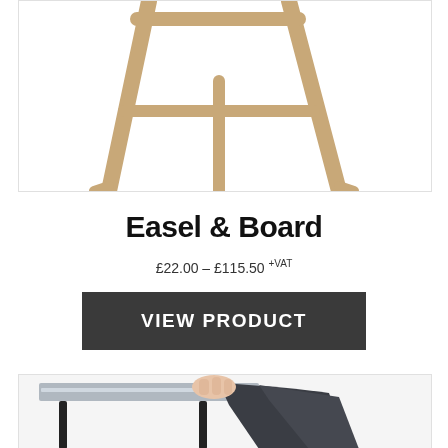[Figure (photo): Bottom portion of a wooden easel showing the legs and base on a white background]
Easel & Board
£22.00 – £115.50 +VAT
VIEW PRODUCT
[Figure (photo): Close-up of a hand draping dark fabric over a folded trestle table with black metal frame]